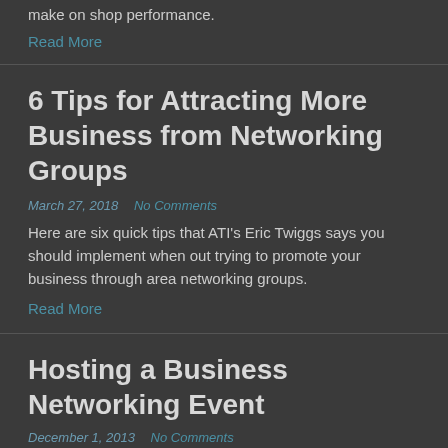make on shop performance.
Read More
6 Tips for Attracting More Business from Networking Groups
March 27, 2018   No Comments
Here are six quick tips that ATI's Eric Twiggs says you should implement when out trying to promote your business through area networking groups.
Read More
Hosting a Business Networking Event
December 1, 2013   No Comments